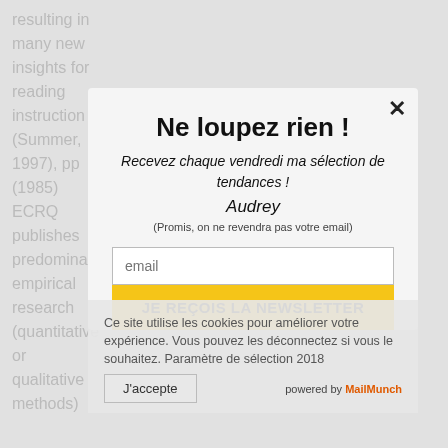resulting in many new insights for reading instruction (Summer, 1997), pp (1985) ECRQ publishes predominantly empirical research (quantitative or qualitative methods)
[Figure (screenshot): Newsletter subscription modal popup with title 'Ne loupez rien!', subtitle 'Recevez chaque vendredi ma sélection de tendances!', author name 'Audrey', promise text, email input field, and yellow subscribe button 'JE REÇOIS LA NEWSLETTER'. Overlaid on background reading research article text with watermark 'reading research quarterly'. Cookie consent bar visible at bottom of modal.]
Ne loupez rien !
Recevez chaque vendredi ma sélection de tendances !
Audrey
(Promis, on ne revendra pas votre email)
email
JE REÇOIS LA NEWSLETTER
Ce site utilise les cookies pour améliorer votre expérience. Vous pouvez les déconnectez si vous le souhaitez. Paramètre de sélection 2018
J'accepte
powered by MailMunch